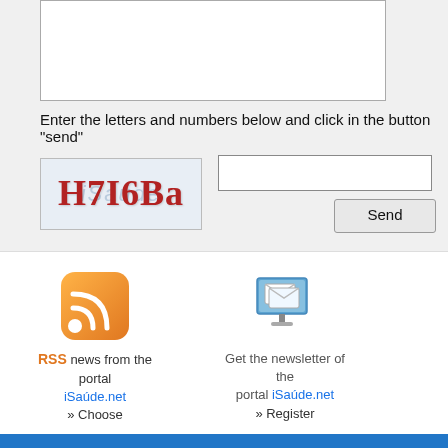[Figure (screenshot): Text area input box for message]
Enter the letters and numbers below and click in the button "send"
[Figure (other): CAPTCHA image showing H7I6Ba in red bold text over a faint blue background]
[Figure (other): CAPTCHA text input field]
[Figure (other): Send button]
[Figure (other): RSS feed orange icon]
RSS news from the portal iSaúde.net » Choose
[Figure (other): Newsletter monitor/envelope icon]
Get the newsletter of the portal iSaúde.net » Register